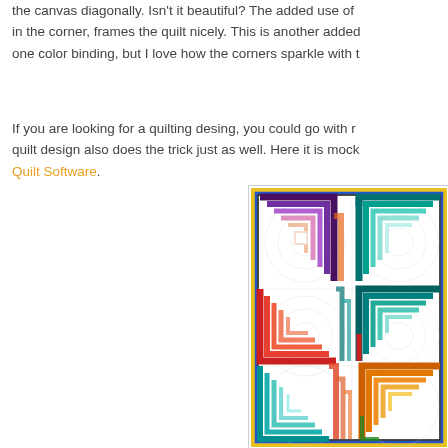the canvas diagonally. Isn't it beautiful? The added use of in the corner, frames the quilt nicely. This is another added one color binding, but I love how the corners sparkle with t
If you are looking for a quilting desing, you could go with r quilt design also does the trick just as well. Here it is mock Quilt Software.
[Figure (illustration): A colorful quilt design mockup showing a pattern of concentric square spirals in various rainbow colors (purple, orange, red, teal, blue, coral, yellow, green) arranged in a grid pattern on a white background with faint circular quilting stitch guides. The quilt has a yellow/orange border.]